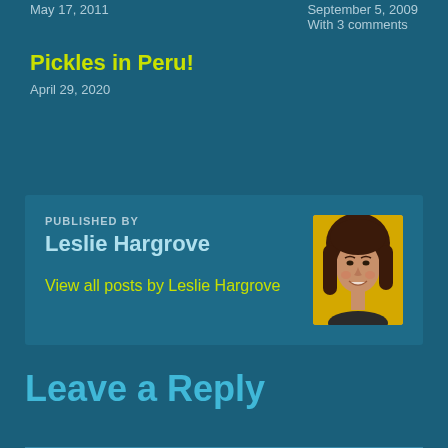May 17, 2011
September 5, 2009
With 3 comments
Pickles in Peru!
April 29, 2020
PUBLISHED BY
Leslie Hargrove
[Figure (photo): Portrait photo of Leslie Hargrove, a woman with brown hair, smiling, against a yellow background]
View all posts by Leslie Hargrove
Leave a Reply